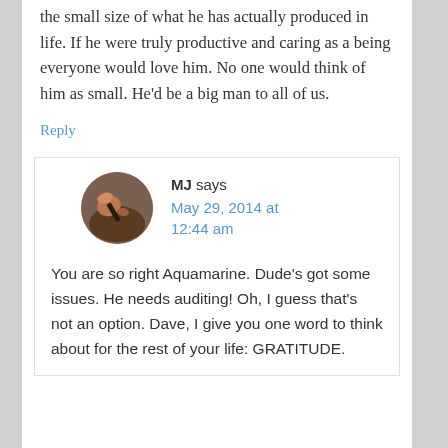the small size of what he has actually produced in life. If he were truly productive and caring as a being everyone would love him. No one would think of him as small. He'd be a big man to all of us.
Reply
MJ says
May 29, 2014 at 12:44 am
You are so right Aquamarine. Dude's got some issues. He needs auditing! Oh, I guess that's not an option. Dave, I give you one word to think about for the rest of your life: GRATITUDE.